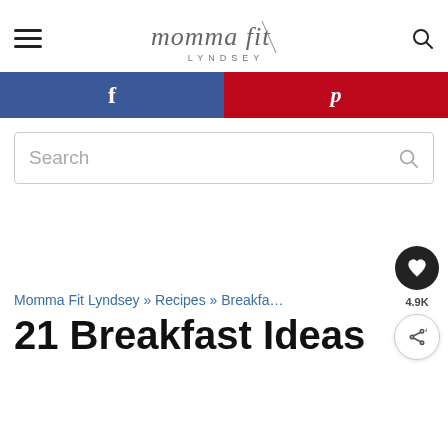momma fit LYNDSEY — navigation header with hamburger menu and search icon
[Figure (screenshot): Social sharing bar with Facebook (blue) and Pinterest (red) buttons]
[Figure (screenshot): Search input box with Search placeholder text and magnifying glass icon]
Momma Fit Lyndsey » Recipes » Breakfast
21 Breakfast Ideas